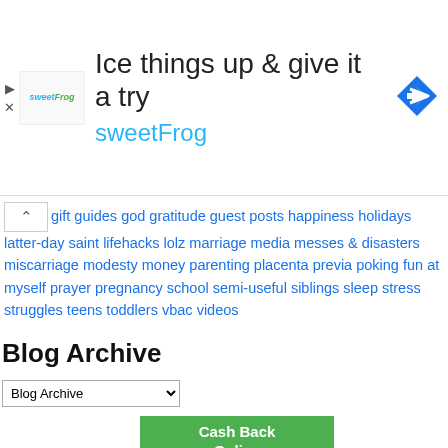[Figure (advertisement): SweetFrog advertisement banner with logo, text 'Ice things up & give it a try sweetFrog', and navigation icon]
gift guides god gratitude guest posts happiness holidays latter-day saint lifehacks lolz marriage media messes & disasters miscarriage modesty money parenting placenta previa poking fun at myself prayer pregnancy school semi-useful siblings sleep stress struggles teens toddlers vbac videos
Blog Archive
Blog Archive (dropdown)
[Figure (advertisement): Cash Back Online Shopping advertisement - Get cash back and coupons when shopping online at Mr. Rebates]